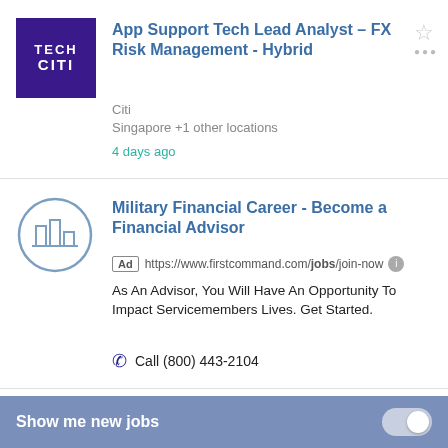[Figure (logo): Tech Citi logo — dark purple square with white bold text 'TECH' and 'CITI']
App Support Tech Lead Analyst – FX Risk Management - Hybrid
Citi
Singapore +1 other locations
4 days ago
[Figure (logo): Circular icon with building/column graphic in light blue outline style]
Military Financial Career - Become a Financial Advisor
Ad  https://www.firstcommand.com/jobs/join-now
As An Advisor, You Will Have An Opportunity To Impact Servicemembers Lives. Get Started.
Call (800) 443-2104
[Figure (logo): Circular icon with building graphic in light blue outline style — partial view]
Accountant Entry Level Jobs - Now Hiring Accountant Jobs
Show me new jobs